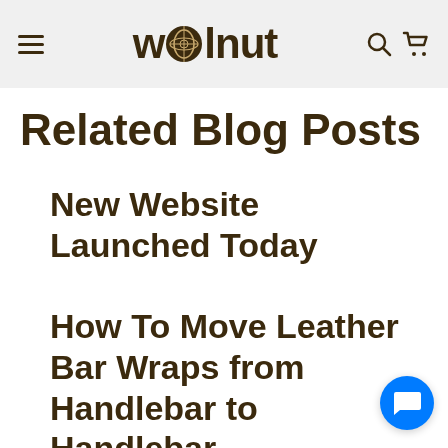welnut
Related Blog Posts
New Website Launched Today
How To Move Leather Bar Wraps from Handlebar to Handlebar